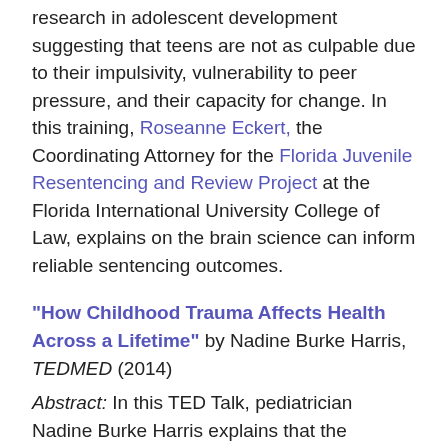research in adolescent development suggesting that teens are not as culpable due to their impulsivity, vulnerability to peer pressure, and their capacity for change. In this training, Roseanne Eckert, the Coordinating Attorney for the Florida Juvenile Resentencing and Review Project at the Florida International University College of Law, explains on the brain science can inform reliable sentencing outcomes.
"How Childhood Trauma Affects Health Across a Lifetime" by Nadine Burke Harris, TEDMED (2014)
Abstract: In this TED Talk, pediatrician Nadine Burke Harris explains that the repeated stress of abuse, neglect, and parents struggling with mental health or substance abuse issues has real, tangible effects on the development of the brain. This unfolds across a lifetime, to the point where those who've experienced high levels of trauma are at triple the risk for heart disease and lung cancer. An impassioned plea for pediatric medicine to confront the